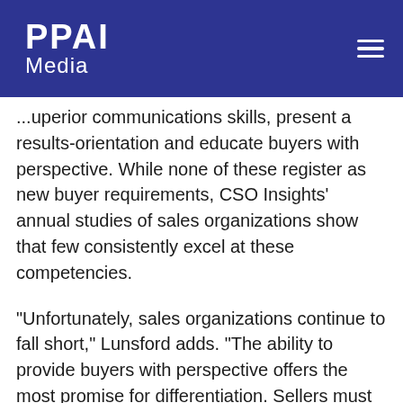PPAI Media
...uperior communications skills, present a results-orientation and educate buyers with perspective. While none of these register as new buyer requirements, CSO Insights' annual studies of sales organizations show that few consistently excel at these competencies.
“Unfortunately, sales organizations continue to fall short,” Lunsford adds. “The ability to provide buyers with perspective offers the most promise for differentiation. Sellers must bring ideas, shape vision and make customers aware of solutions they hadn't considered. There are no shortcuts. Educating the buyer needs to occur in addition to the other requirements, not replace them. And there is no one cookie-cutter approach for how and when to provide insights.”
The 2018 Buyer Preferences Study is based on a global